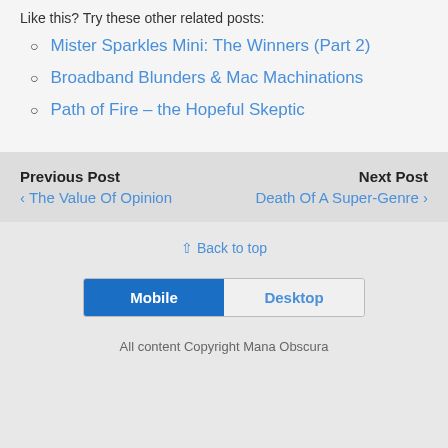Like this? Try these other related posts:
Mister Sparkles Mini: The Winners (Part 2)
Broadband Blunders & Mac Machinations
Path of Fire – the Hopeful Skeptic
Previous Post ‹ The Value Of Opinion
Next Post Death Of A Super-Genre ›
⇑ Back to top
[Figure (other): Mobile/Desktop toggle button with Mobile selected in blue]
All content Copyright Mana Obscura